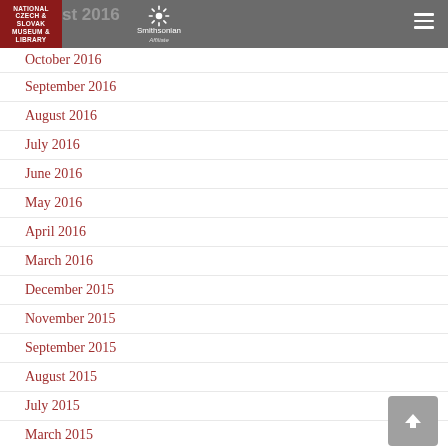National Czech & Slovak Museum & Library | Smithsonian Affiliate
October 2016
September 2016
August 2016
July 2016
June 2016
May 2016
April 2016
March 2016
December 2015
November 2015
September 2015
August 2015
July 2015
March 2015